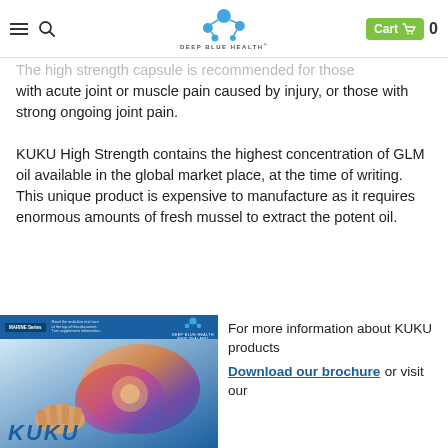Deep Blue Health — Cart 0
The high strength capsule is recommended for those with acute joint or muscle pain caused by injury, or those with strong ongoing joint pain.
KUKU High Strength contains the highest concentration of GLM oil available in the global market place, at the time of writing. This unique product is expensive to manufacture as it requires enormous amounts of fresh mussel to extract the potent oil.
[Figure (photo): KUKU product brochure cover showing a human body figure with colorful muscle/joint anatomy illustration and Deep Blue Health New Zealand logo at top.]
For more information about KUKU products Download our brochure or visit our website.